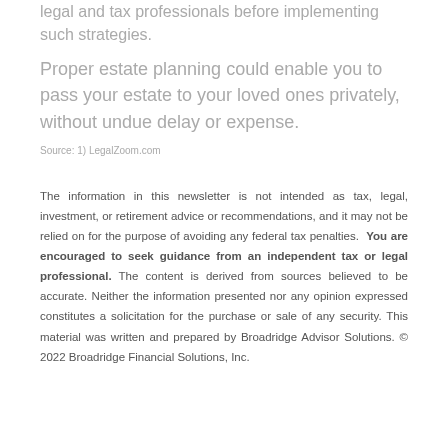legal and tax professionals before implementing such strategies.
Proper estate planning could enable you to pass your estate to your loved ones privately, without undue delay or expense.
Source: 1) LegalZoom.com
The information in this newsletter is not intended as tax, legal, investment, or retirement advice or recommendations, and it may not be relied on for the purpose of avoiding any federal tax penalties. You are encouraged to seek guidance from an independent tax or legal professional. The content is derived from sources believed to be accurate. Neither the information presented nor any opinion expressed constitutes a solicitation for the purchase or sale of any security. This material was written and prepared by Broadridge Advisor Solutions. © 2022 Broadridge Financial Solutions, Inc.